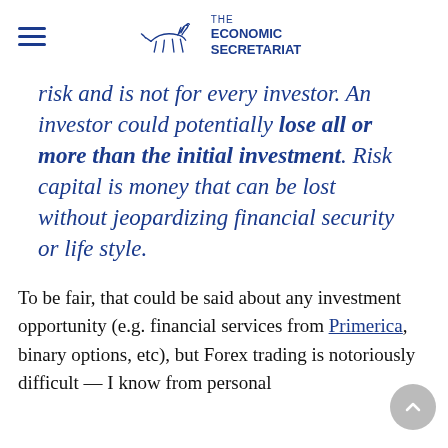THE ECONOMIC SECRETARIAT
risk and is not for every investor. An investor could potentially lose all or more than the initial investment. Risk capital is money that can be lost without jeopardizing financial security or life style.
To be fair, that could be said about any investment opportunity (e.g. financial services from Primerica, binary options, etc), but Forex trading is notoriously difficult — I know from personal